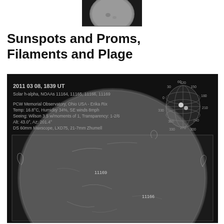[Figure (photo): Small cropped solar image at top of page, grayscale, showing partial disk of the sun]
Sunspots and Proms, Filaments and Plage
[Figure (photo): Solar observation composite image on black background. Top portion shows observation metadata: date 2011 03 08 1839 UT, Solar h-alpha NOAAs 11164 11165 11166 11169, PCW Memorial Observatory Ohio USA - Erika Rix, Temp 16.8°C Humidity 34% SE winds 8mph, Seeing Wilson 3.5 w/moments of 1 Transparency 1-2/6, Alt 43.0° Az 201.4°, DS 60mm Maxscope LXD75 21-7mm Zhumell. Right side shows a polar grid/dial graphic. Bottom portion shows a large grayscale h-alpha solar disk image with labeled regions 11169 and 11166, showing sunspots, filaments and prominences.]